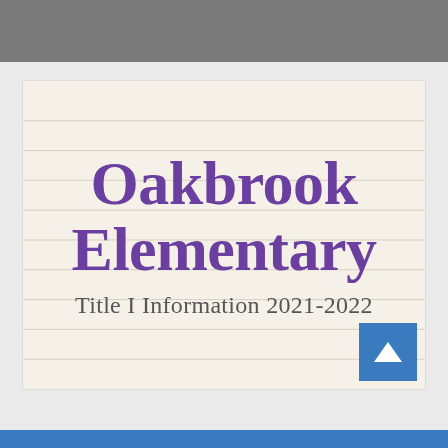[Figure (illustration): Gray header bar at the top of the page]
Oakbrook Elementary
Title I Information 2021-2022
[Figure (other): Blue arrow-up navigation button in the bottom right of the card]
Blue bar at the bottom of the page